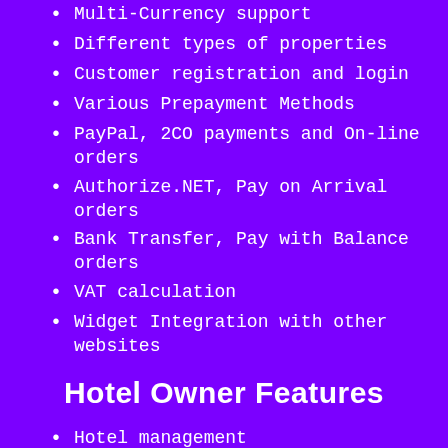Multi-Currency support
Different types of properties
Customer registration and login
Various Prepayment Methods
PayPal, 2CO payments and On-line orders
Authorize.NET, Pay on Arrival orders
Bank Transfer, Pay with Balance orders
VAT calculation
Widget Integration with other websites
Hotel Owner Features
Hotel management
Hotel and room-level facilities management
Rooms and Room Types management
Meal plans
Hotel owner reservation possibility